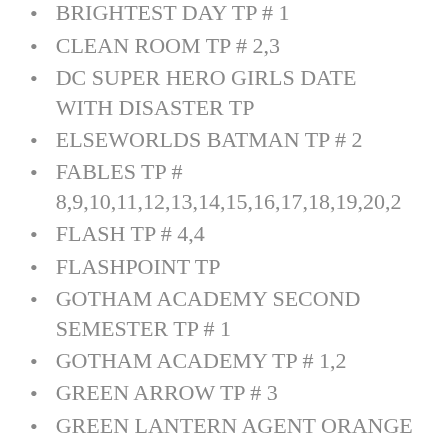BRIGHTEST DAY TP # 1
CLEAN ROOM TP # 2,3
DC SUPER HERO GIRLS DATE WITH DISASTER TP
ELSEWORLDS BATMAN TP # 2
FABLES TP # 8,9,10,11,12,13,14,15,16,17,18,19,20,2
FLASH TP # 4,4
FLASHPOINT TP
GOTHAM ACADEMY SECOND SEMESTER TP # 1
GOTHAM ACADEMY TP # 1,2
GREEN ARROW TP # 3
GREEN LANTERN AGENT ORANGE TP
GREEN LANTERN GREEN ARROW TP
GREEN LANTERN NEW
GUARDIANS TP # 4